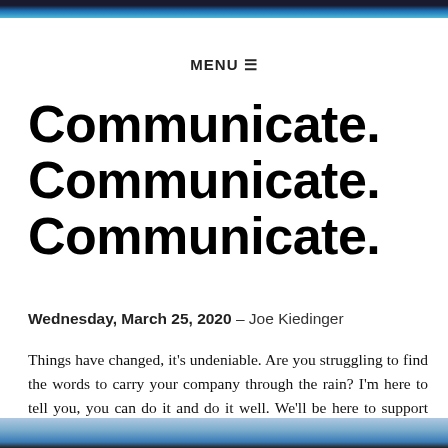MENU ☰
Communicate. Communicate. Communicate.
Wednesday, March 25, 2020 – Joe Kiedinger
Things have changed, it's undeniable. Are you struggling to find the words to carry your company through the rain? I'm here to tell you, you can do it and do it well. We'll be here to support you along the way.